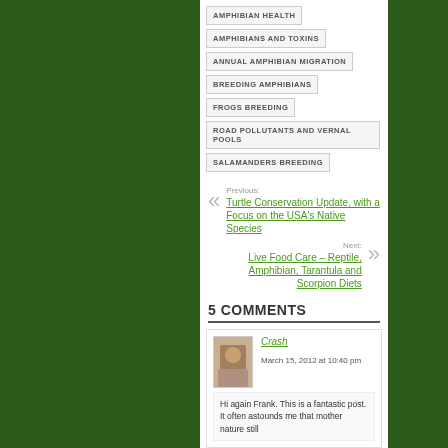AMPHIBIAN HEALTH
AMPHIBIANS AND TOXINS
ANNUAL AMPHIBIAN MIGRATION
BREEDING AMPHIBIANS
FROGS BREEDING
ROAD POLLUTANTS AND VERNAL POOLS
SALAMANDERS BREEDING
Previous:
Turtle Conservation Update, with a Focus on the USA's Native Species
Next:
Live Food Care – Reptile, Amphibian, Tarantula and Scorpion Diets
5 COMMENTS
Crash
March 15, 2012 at 10:40 pm
Hi again Frank. This is a fantastic post. It often astounds me that mother nature still